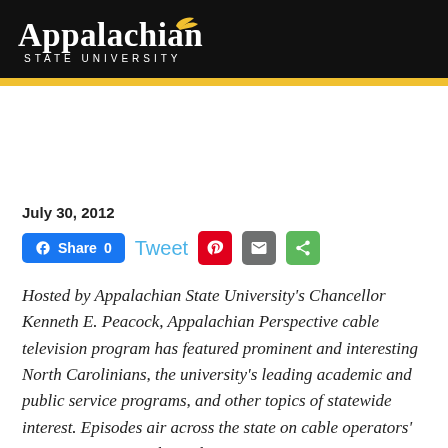Appalachian State University
July 30, 2012
[Figure (other): Social sharing bar with Facebook Share button (count 0), Tweet link, Pinterest icon, Email icon, and general share icon]
Hosted by Appalachian State University's Chancellor Kenneth E. Peacock, Appalachian Perspective cable television program has featured prominent and interesting North Carolinians, the university's leading academic and public service programs, and other topics of statewide interest. Episodes air across the state on cable operators' community access channels